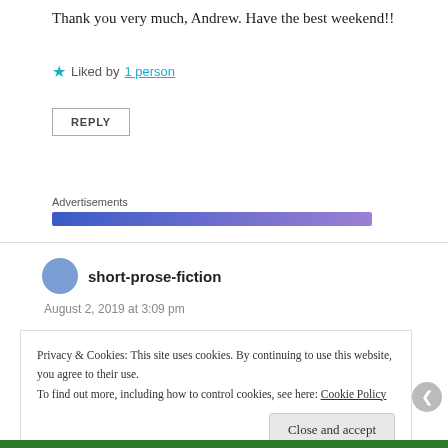Thank you very much, Andrew. Have the best weekend!!
★ Liked by 1 person
REPLY
Advertisements
short-prose-fiction
August 2, 2019 at 3:09 pm
Privacy & Cookies: This site uses cookies. By continuing to use this website, you agree to their use. To find out more, including how to control cookies, see here: Cookie Policy
Close and accept